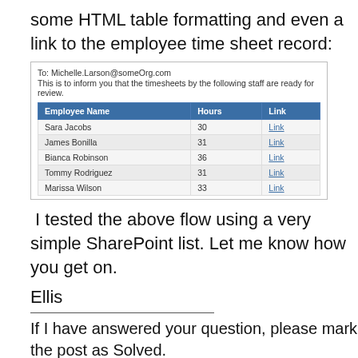some HTML table formatting and even a link to the employee time sheet record:
| Employee Name | Hours | Link |
| --- | --- | --- |
| Sara Jacobs | 30 | Link |
| James Bonilla | 31 | Link |
| Bianca Robinson | 36 | Link |
| Tommy Rodriguez | 31 | Link |
| Marissa Wilson | 33 | Link |
I tested the above flow using a very simple SharePoint list. Let me know how you get on.
Ellis
If I have answered your question, please mark the post as Solved.
If you like my response, please give it a Thumbs Up.